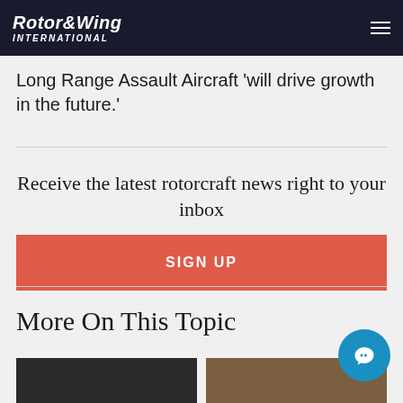Rotor&Wing International
Long Range Assault Aircraft 'will drive growth in the future.'
Receive the latest rotorcraft news right to your inbox
SIGN UP
More On This Topic
[Figure (photo): Two thumbnail article photos at the bottom of the page]